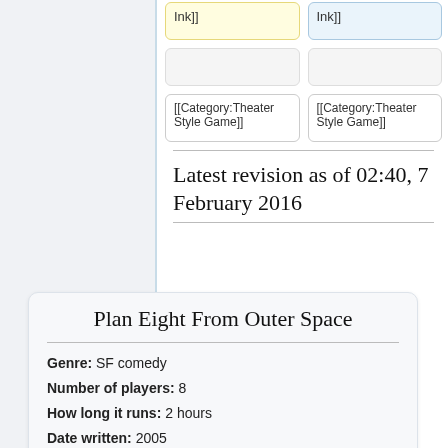Ink]]
Ink]]
[[Category:Theater Style Game]]
[[Category:Theater Style Game]]
Latest revision as of 02:40, 7 February 2016
Plan Eight From Outer Space
Genre: SF comedy
Number of players: 8
How long it runs: 2 hours
Date written: 2005